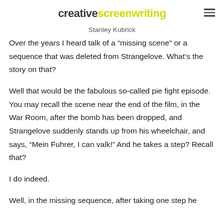creative screenwriting
Stanley Kubrick
Over the years I heard talk of a “missing scene” or a sequence that was deleted from Strangelove. What’s the story on that?
Well that would be the fabulous so-called pie fight episode. You may recall the scene near the end of the film, in the War Room, after the bomb has been dropped, and Strangelove suddenly stands up from his wheelchair, and says, “Mein Fuhrer, I can valk!” And he takes a step? Recall that?
I do indeed.
Well, in the missing sequence, after taking one step he